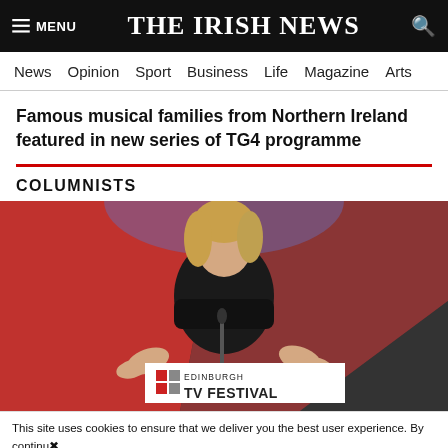THE IRISH NEWS
Famous musical families from Northern Ireland featured in new series of TG4 programme
COLUMNISTS
[Figure (photo): Woman with blonde hair speaking at a podium at the Edinburgh TV Festival, wearing a black outfit, with red and white backdrop]
This site uses cookies to ensure that we deliver you the best user experience. By continuing to browse the site you are agreeing to our use of cookies. For more information please see our COOKIE POLICY
Fionnuala O'Connor's self-censorship claim echoes Jeremy...